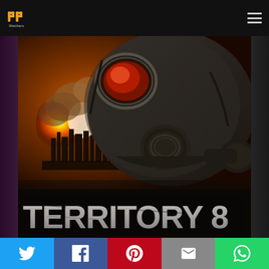[Figure (logo): PP Watchers logo - stylized golden PP letters above text 'Watchers']
[Figure (photo): Movie poster for 'Territory 8' showing a person in a gas mask with an explosion and burning cityscape in the background. The title 'TERRITORY 8' appears in large distressed white block letters at the bottom.]
[Figure (infographic): Social share bar with 5 buttons: Twitter (blue), Facebook (dark blue), Pinterest (red), Email (grey), WhatsApp (green)]